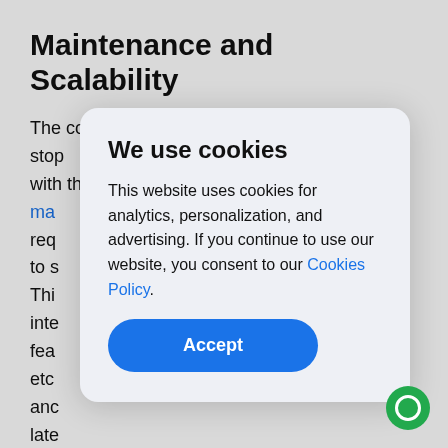Maintenance and Scalability
The cooperation with your IT vendor doesn't stop with the last stage. As with any other logistics ma[nagement...] req[uires...] ue to s[...] Thi[s...] inte[gration...] ed fea[tures...] , etc[...] lity, an[d...] late[r...] drastically improve user experience.
We use cookies
This website uses cookies for analytics, personalization, and advertising. If you continue to use our website, you consent to our Cookies Policy.
Accept